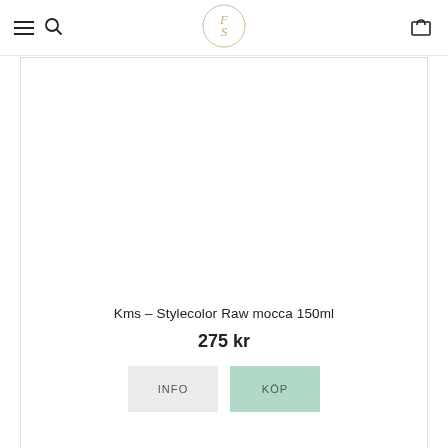FS logo, menu, search, cart
[Figure (screenshot): Product image area for Kms Stylecolor Raw mocca 150ml (blank/white product image area)]
Kms – Stylecolor Raw mocca 150ml
275 kr
INFO
KÖP
[Figure (screenshot): Second product card beginning, image area visible, heart/wishlist icon in top right]